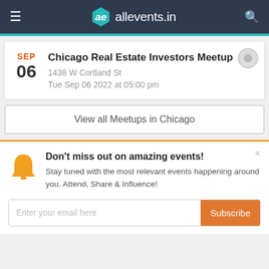allevents.in
SEP 06 — Chicago Real Estate Investors Meetup — 1438 W Cortland St — Tue Sep 06 2022 at 05:00 pm
View all Meetups in Chicago
Don't miss out on amazing events! Stay tuned with the most relevant events happening around you. Attend, Share & Influence!
Enter your email here — Subscribe